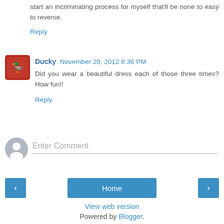start an incriminating process for myself that'll be none to easy to reverse.
Reply
Ducky  November 29, 2012 8:36 PM
Did you wear a beautiful dress each of those three times? How fun!!
Reply
Enter Comment
Home
View web version
Powered by Blogger.